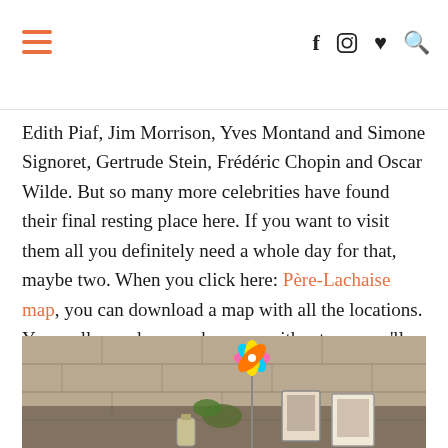Navigation header with hamburger menu and social icons (Facebook, Instagram, heart, search)
Edith Piaf, Jim Morrison, Yves Montand and Simone Signoret, Gertrude Stein, Frédéric Chopin and Oscar Wilde. But so many more celebrities have found their final resting place here. If you want to visit them all you definitely need a whole day for that, maybe two. When you click here: Père-Lachaise map, you can download a map with all the locations. You really need a map, because without one you'll be searching for days. ☺
[Figure (photo): A grave or memorial at Père-Lachaise cemetery showing a colorful pinwheel decoration, framed photographs, and flowers placed against a stone wall background.]